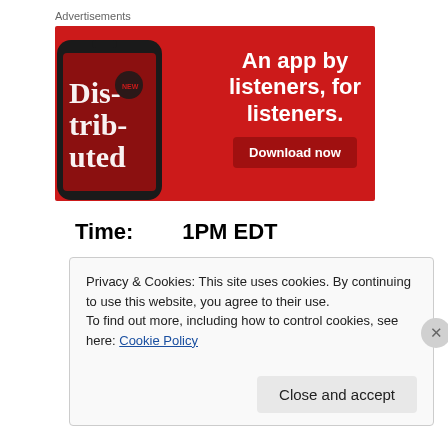Advertisements
[Figure (illustration): Red advertisement banner for a podcast app showing a smartphone with 'Distributed' podcast cover and text 'An app by listeners, for listeners.' with a 'Download now' button.]
Time: 1PM EDT
Privacy & Cookies: This site uses cookies. By continuing to use this website, you agree to their use.
To find out more, including how to control cookies, see here: Cookie Policy
Close and accept